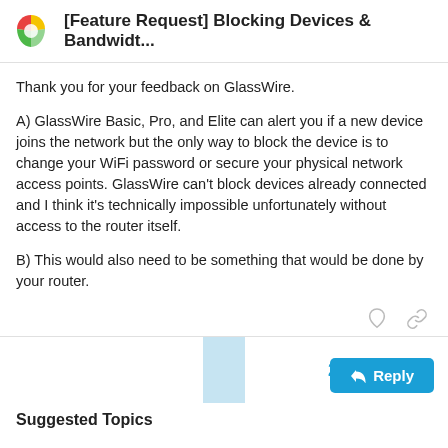[Feature Request] Blocking Devices & Bandwidt...
Thank you for your feedback on GlassWire.
A) GlassWire Basic, Pro, and Elite can alert you if a new device joins the network but the only way to block the device is to change your WiFi password or secure your physical network access points. GlassWire can't block devices already connected and I think it's technically impossible unfortunately without access to the router itself.
B) This would also need to be something that would be done by your router.
2 / 2
Suggested Topics